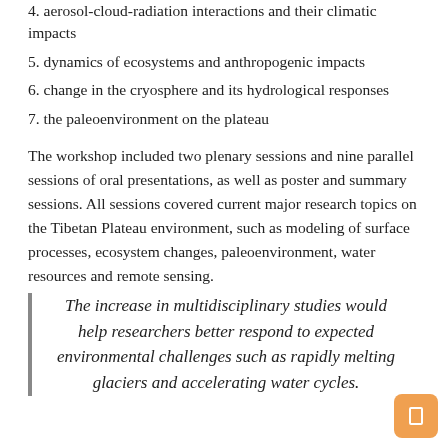4. aerosol-cloud-radiation interactions and their climatic impacts
5. dynamics of ecosystems and anthropogenic impacts
6. change in the cryosphere and its hydrological responses
7. the paleoenvironment on the plateau
The workshop included two plenary sessions and nine parallel sessions of oral presentations, as well as poster and summary sessions. All sessions covered current major research topics on the Tibetan Plateau environment, such as modeling of surface processes, ecosystem changes, paleoenvironment, water resources and remote sensing.
The increase in multidisciplinary studies would help researchers better respond to expected environmental challenges such as rapidly melting glaciers and accelerating water cycles.